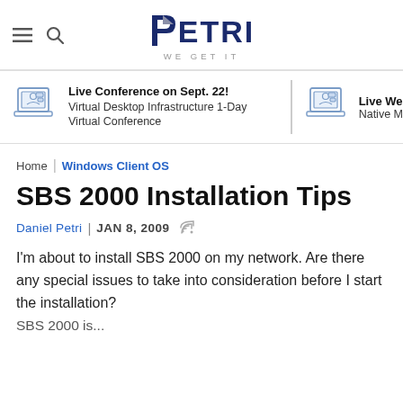PETRI – WE GET IT (logo with menu and search icons)
[Figure (infographic): Ad banner: laptop/conference icon with text 'Live Conference on Sept. 22! Virtual Desktop Infrastructure 1-Day Virtual Conference'; divider; second partial ad with icon and 'Live We... Native M...']
Home | Windows Client OS
SBS 2000 Installation Tips
Daniel Petri | JAN 8, 2009
I'm about to install SBS 2000 on my network. Are there any special issues to take into consideration before I start the installation? SBS 2000 is...